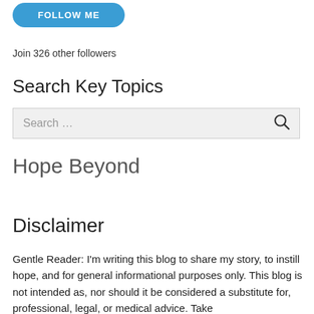[Figure (other): Blue rounded rectangle button with white text 'FOLLOW ME']
Join 326 other followers
Search Key Topics
[Figure (other): Search input field with placeholder 'Search ...' and search icon on the right]
Hope Beyond
Disclaimer
Gentle Reader: I'm writing this blog to share my story, to instill hope, and for general informational purposes only. This blog is not intended as, nor should it be considered a substitute for, professional, legal, or medical advice. Take